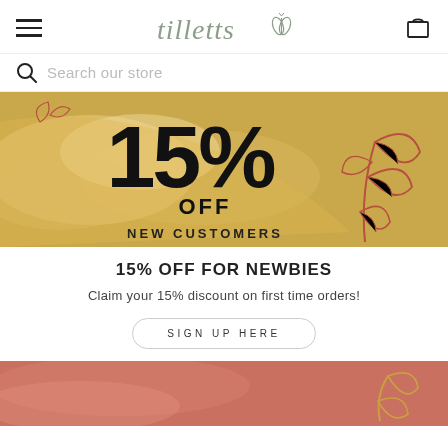tilletts (logo with butterfly icon)
Search our store
[Figure (illustration): Promotional banner with warm golden/tan background, large text '15% OFF NEW CUSTOMERS' with decorative botanical leaf illustrations in terracotta red on the right side and abstract paint strokes in lighter tan on the left]
15% OFF FOR NEWBIES
Claim your 15% discount on first time orders!
SIGN UP HERE
[Figure (illustration): Bottom portion of a terracotta/salmon colored banner with golden leaf botanical illustration in the lower right]